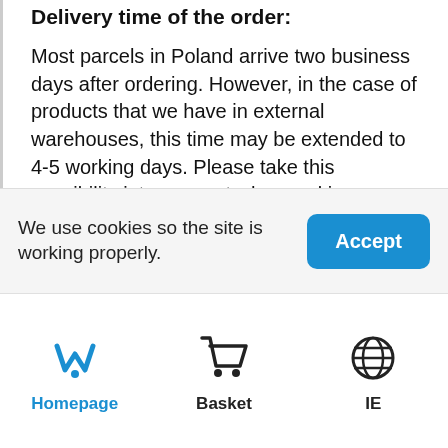Delivery time of the order:
Most parcels in Poland arrive two business days after ordering. However, in the case of products that we have in external warehouses, this time may be extended to 4-5 working days. Please take this possibility into account when making purchases.
Shipping information:
We always inform you to the e-mail address provided by the customer that the package has been shipped. We provide the shipping number by which the customer can track his order on
We use cookies so the site is working properly.
Accept
Homepage
Basket
IE